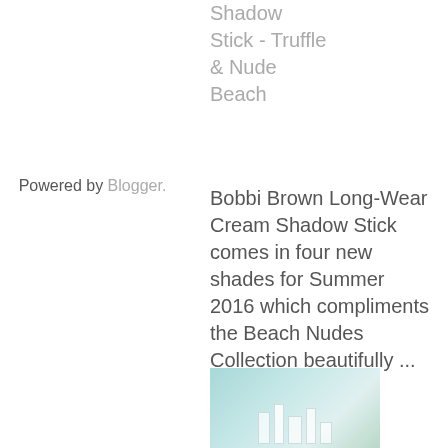Shadow Stick - Truffle & Nude Beach
Powered by Blogger.
Bobbi Brown Long-Wear Cream Shadow Stick comes in four new shades for Summer 2016 which compliments the Beach Nudes Collection beautifully ...
[Figure (photo): Photo of Bobbi Brown beach nudes cosmetics products displayed on a blue-teal background surface]